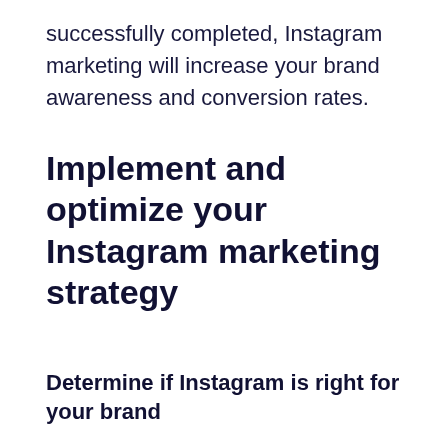successfully completed, Instagram marketing will increase your brand awareness and conversion rates.
Implement and optimize your Instagram marketing strategy
Determine if Instagram is right for your brand
To make the most of your Instagram marketing efforts, make sure your target audience is aligned